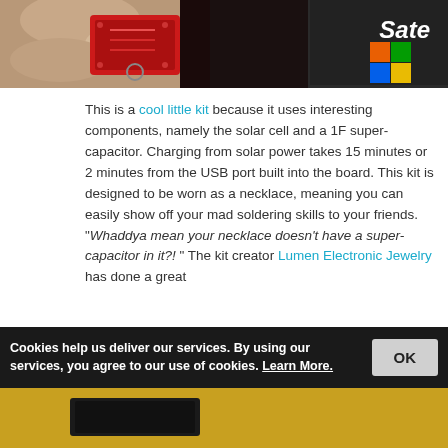[Figure (photo): Partial view of a hand holding a small red circuit board with keychain ring, next to a laptop showing 'Sate' text and Windows logo.]
This is a cool little kit because it uses interesting components, namely the solar cell and a 1F super-capacitor. Charging from solar power takes 15 minutes or 2 minutes from the USB port built into the board. This kit is designed to be worn as a necklace, meaning you can easily show off your mad soldering skills to your friends. “Whaddya mean your necklace doesn’t have a super-capacitor in it?!” The kit creator Lumen Electronic Jewelry has done a great
Cookies help us deliver our services. By using our services, you agree to our use of cookies. Learn More.
[Figure (photo): Partial bottom image showing a golden/yellow colored background with a dark object.]